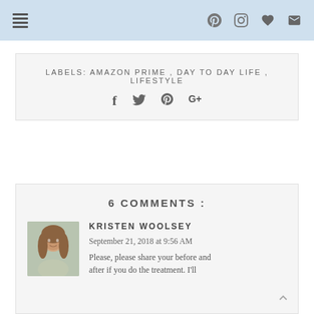Navigation menu and social icons (Pinterest, Instagram, heart/wishlist, email)
LABELS: AMAZON PRIME , DAY TO DAY LIFE , LIFESTYLE
[Figure (infographic): Social sharing icons: Facebook (f), Twitter (bird), Pinterest (P), Google+ (G+)]
6 COMMENTS :
[Figure (photo): Avatar photo of Kristen Woolsey, a woman with long hair]
KRISTEN WOOLSEY
September 21, 2018 at 9:56 AM
Please, please share your before and after if you do the treatment. I'll...